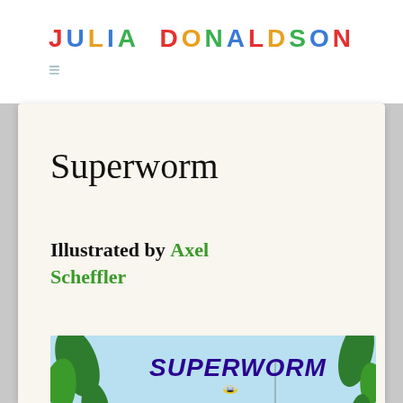JULIA DONALDSON
Superworm
Illustrated by Axel Scheffler
[Figure (illustration): Book cover of Superworm by Julia Donaldson, illustrated by Axel Scheffler. Shows a large pink worm among colourful garden flowers including an orange daisy and blue flower, with bees, beetles, a grasshopper, and other insects. The word SUPERWORM is written in bold dark purple italic letters at the top of the cover.]